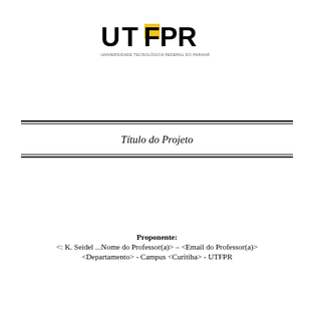[Figure (logo): UTFPR logo — bold black letters 'UTF' with a yellow rectangle behind the 'F', followed by 'PR' in black, with small text below reading 'UNIVERSIDADE TECNOLÓGICA FEDERAL DO PARANÁ']
Título do Projeto
Proponente:
<: K. Seidel ...Nome do Professor(a)> – <Email do Professor(a)>
<Departamento> - Campus <Curitiba> - UTFPR